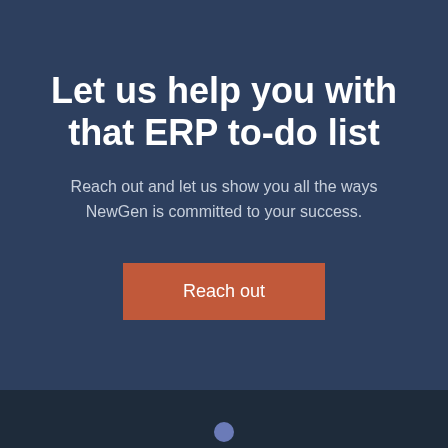Let us help you with that ERP to-do list
Reach out and let us show you all the ways NewGen is committed to your success.
Reach out